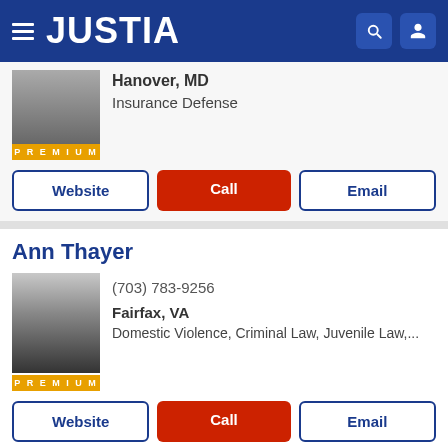JUSTIA
Hanover, MD
Insurance Defense
Website | Call | Email
Ann Thayer
(703) 783-9256
Fairfax, VA
Domestic Violence, Criminal Law, Juvenile Law,...
Website | Call | Email
Merritt James Green PRO
McLean, VA